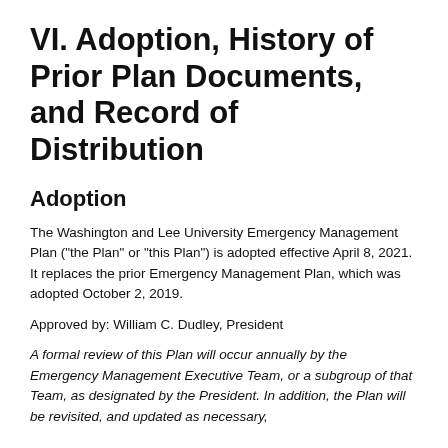VI. Adoption, History of Prior Plan Documents, and Record of Distribution
Adoption
The Washington and Lee University Emergency Management Plan ("the Plan" or "this Plan") is adopted effective April 8, 2021. It replaces the prior Emergency Management Plan, which was adopted October 2, 2019.
Approved by: William C. Dudley, President
A formal review of this Plan will occur annually by the Emergency Management Executive Team, or a subgroup of that Team, as designated by the President. In addition, the Plan will be revisited, and updated as necessary,